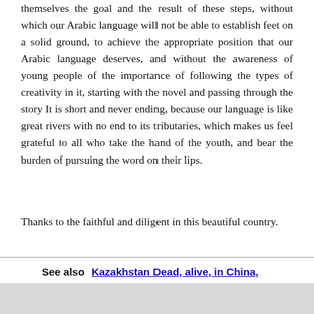themselves the goal and the result of these steps, without which our Arabic language will not be able to establish feet on a solid ground, to achieve the appropriate position that our Arabic language deserves, and without the awareness of young people of the importance of following the types of creativity in it, starting with the novel and passing through the story It is short and never ending, because our language is like great rivers with no end to its tributaries, which makes us feel grateful to all who take the hand of the youth, and bear the burden of pursuing the word on their lips.
Thanks to the faithful and diligent in this beautiful country.
See also  Kazakhstan Dead, alive, in China,